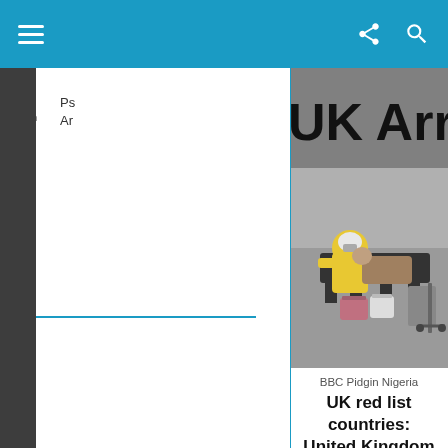BBC Pidgin Nigeria - navigation bar
5. Ps... Ar...
[Figure (photo): Person in yellow hazmat suit and mask sleeping on airport chairs at UK Arrivals terminal, with luggage nearby.]
BBC Pidgin Nigeria
UK red list countries: United Kingdom updated red list travel restrictions, wetin e mean